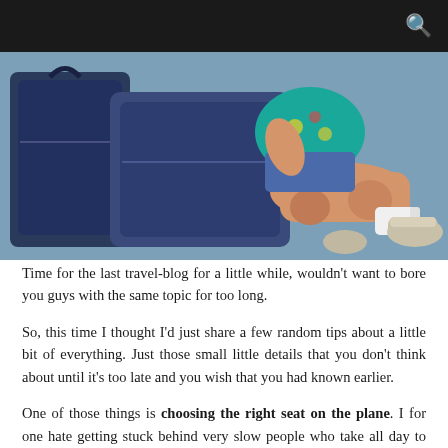[Figure (photo): A child lying on a blue floor next to large denim luggage bags, wearing a teal patterned shirt, shorts, white socks and light colored shoes.]
Time for the last travel-blog for a little while, wouldn't want to bore you guys with the same topic for too long.
So, this time I thought I'd just share a few random tips about a little bit of everything. Just those small little details that you don't think about until it's too late and you wish that you had known earlier.
One of those things is choosing the right seat on the plane. I for one hate getting stuck behind very slow people who take all day to gather their luggage and jackets and start walking towards the exit. If you're way in the back, it feels like it's gonna take forever before you get out. Not to mention that you're going to be behind all those slow people for the passport-control as well. There are